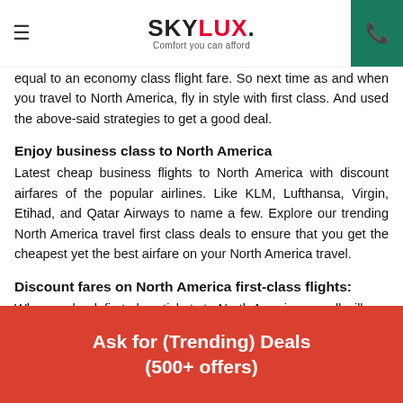SKYLUX. Comfort you can afford
equal to an economy class flight fare. So next time as and when you travel to North America, fly in style with first class. And used the above-said strategies to get a good deal.
Enjoy business class to North America
Latest cheap business flights to North America with discount airfares of the popular airlines. Like KLM, Lufthansa, Virgin, Etihad, and Qatar Airways to name a few. Explore our trending North America travel first class deals to ensure that you get the cheapest yet the best airfare on your North America travel.
Discount fares on North America first-class flights:
When we book first-class tickets to North America, we all will
Ask for (Trending) Deals (500+ offers)